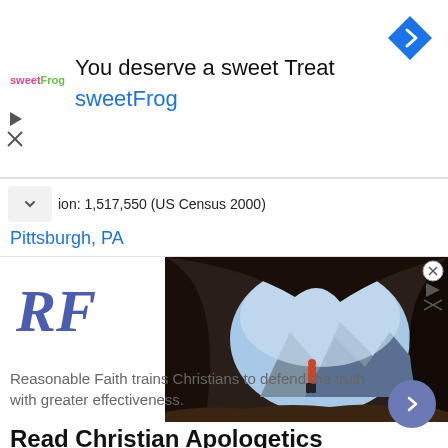[Figure (screenshot): SweetFrog advertisement banner with logo, tagline 'You deserve a sweet Treat', brand name 'sweetFrog', navigation arrow icon, and ad controls]
ion: 1,517,550 (US Census 2000)
Pittsburgh, PA
[Figure (screenshot): Reasonable Faith advertisement with 'RF' logo in blue italic, cave/mountain photo on right, headline 'Read Christian Apologetics', body text 'Reasonable Faith trains Christians to defend the truth with greater effectiveness.', blue arrow button, and close/ad-info icons]